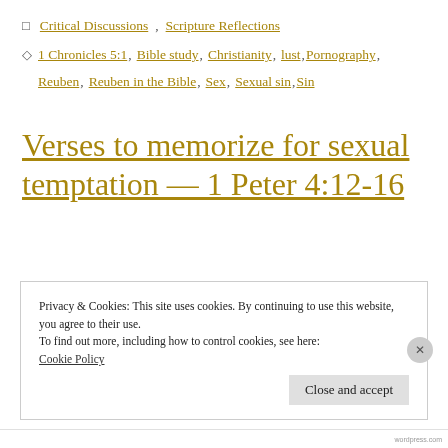Critical Discussions, Scripture Reflections
1 Chronicles 5:1, Bible study, Christianity, lust, Pornography, Reuben, Reuben in the Bible, Sex, Sexual sin, Sin
Verses to memorize for sexual temptation — 1 Peter 4:12-16
Privacy & Cookies: This site uses cookies. By continuing to use this website, you agree to their use.
To find out more, including how to control cookies, see here:
Cookie Policy
Close and accept